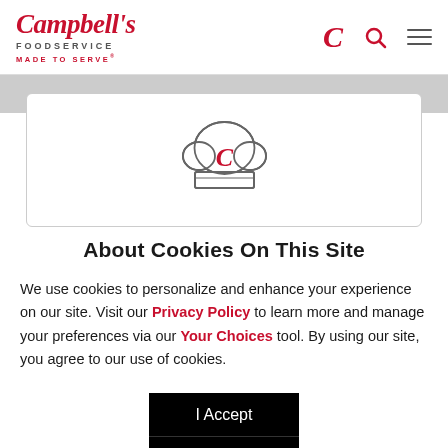Campbell's Foodservice MADE TO SERVE
[Figure (logo): Campbell's Foodservice logo with chef hat icon in header]
About Cookies On This Site
We use cookies to personalize and enhance your experience on our site. Visit our Privacy Policy to learn more and manage your preferences via our Your Choices tool. By using our site, you agree to our use of cookies.
I Accept
Options